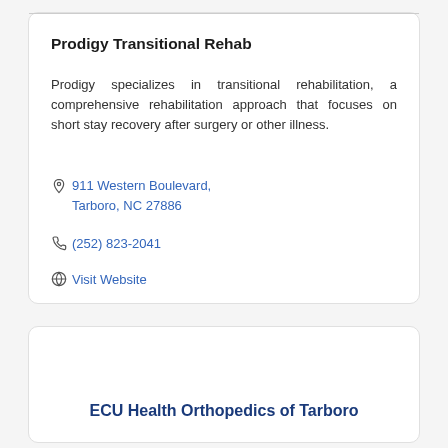Prodigy Transitional Rehab
Prodigy specializes in transitional rehabilitation, a comprehensive rehabilitation approach that focuses on short stay recovery after surgery or other illness.
911 Western Boulevard, Tarboro, NC 27886
(252) 823-2041
Visit Website
ECU Health Orthopedics of Tarboro